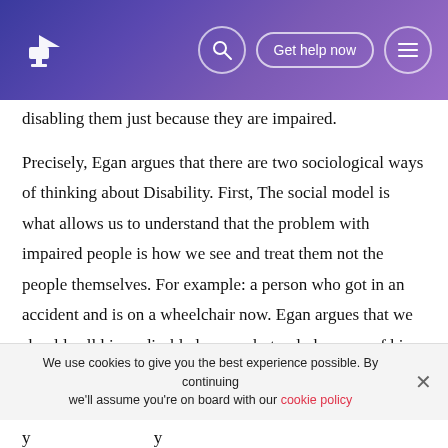Get help now
disabling them just because they are impaired.
Precisely, Egan argues that there are two sociological ways of thinking about Disability. First, The social model is what allows us to understand that the problem with impaired people is how we see and treat them not the people themselves. For example: a person who got in an accident and is on a wheelchair now. Egan argues that we should call him a disabled person but only because of his society. Society has built barriers between him and his goals. One of the most common problems with society and impaired people is transportation. A person on a wheelchair has to
We use cookies to give you the best experience possible. By continuing we'll assume you're on board with our cookie policy